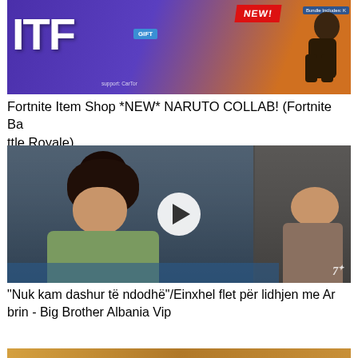[Figure (screenshot): Fortnite Item Shop thumbnail with ITF text, NEW badge, animated character, blue and orange background]
Fortnite Item Shop *NEW* NARUTO COLLAB! (Fortnite Battle Royale)
[Figure (screenshot): Video thumbnail showing a woman in green hoodie with dark hair in a bun, sitting indoors, with a play button overlay. Big Brother Albania Vip show.]
"Nuk kam dashur të ndodhë"/Einxhel flet për lidhjen me Arbrin - Big Brother Albania Vip
[Figure (screenshot): Partial thumbnail at bottom of page, warm golden/orange tones]